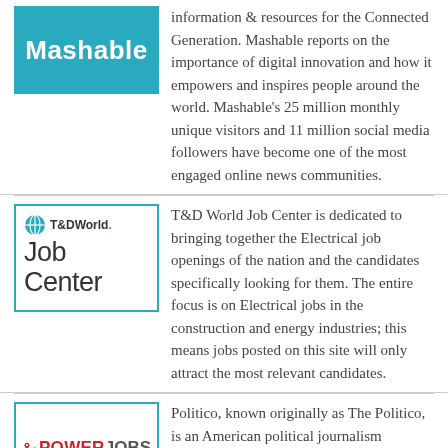[Figure (logo): Mashable logo — white text on teal background]
information & resources for the Connected Generation. Mashable reports on the importance of digital innovation and how it empowers and inspires people around the world. Mashable's 25 million monthly unique visitors and 11 million social media followers have become one of the most engaged online news communities.
[Figure (logo): T&D World Job Center logo — teal border box with globe icon]
T&D World Job Center is dedicated to bringing together the Electrical job openings of the nation and the candidates specifically looking for them. The entire focus is on Electrical jobs in the construction and energy industries; this means jobs posted on this site will only attract the most relevant candidates.
[Figure (logo): PowerJobs logo — red pin icon, gray plane, red and gray text]
Politico, known originally as The Politico, is an American political journalism company based in Arlington County, Virginia, that covers politics and policy in the United States and internationally. It distributes content through its website, television, printed newspapers, radio, and podcasts. Powerjobs serves employers and job seekers in the